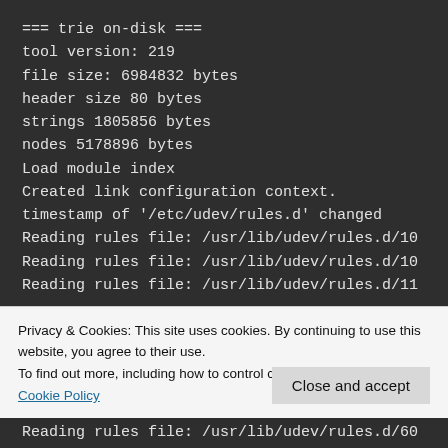=== trie on-disk ===
tool version: 219
file size: 6984832 bytes
header size 80 bytes
strings 1805856 bytes
nodes 5178896 bytes
Load module index
Created link configuration context.
timestamp of '/etc/udev/rules.d' changed
Reading rules file: /usr/lib/udev/rules.d/10
Reading rules file: /usr/lib/udev/rules.d/10
Reading rules file: /usr/lib/udev/rules.d/11
Privacy & Cookies: This site uses cookies. By continuing to use this website, you agree to their use.
To find out more, including how to control cookies, see here:
Cookie Policy
Close and accept
Reading rules file: /usr/lib/udev/rules.d/60